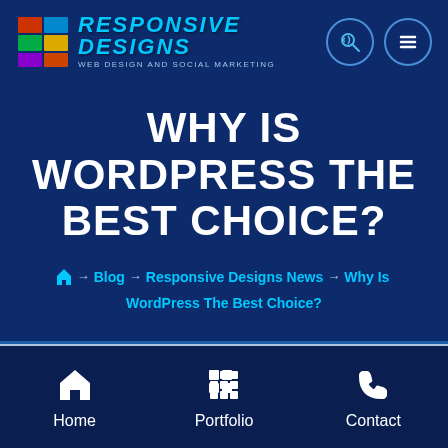[Figure (logo): Responsive Designs logo with cube icon and text 'RESPONSIVE DESIGNS WEB DESIGN AND SOCIAL MARKETING']
WHY IS WORDPRESS THE BEST CHOICE?
Home → Blog → Responsive Designs News → Why Is WordPress The Best Choice?
Home  Portfolio  Contact